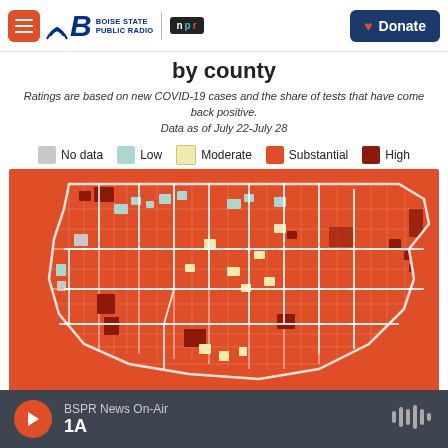Boise State Public Radio | NPR | Donate
by county
Ratings are based on new COVID-19 cases and the share of tests that have come back positive.
Data as of July 22-July 28
[Figure (map): US county-level COVID-19 transmission map showing mostly substantial (orange-red) and high (dark red) transmission across most counties, with some low (light teal) and moderate (light yellow) counties scattered throughout, and a few no-data (gray) counties. Data as of July 22-July 28.]
BSPR News On-Air | 1A